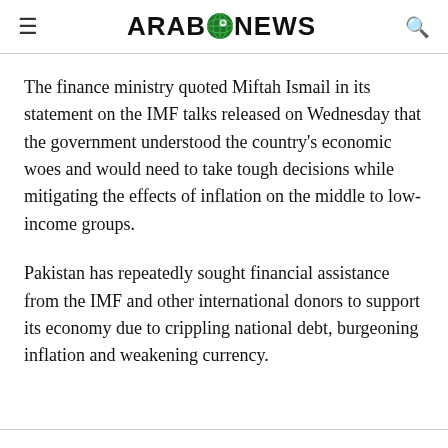≡  ARAB NEWS  🔍
The finance ministry quoted Miftah Ismail in its statement on the IMF talks released on Wednesday that the government understood the country's economic woes and would need to take tough decisions while mitigating the effects of inflation on the middle to low-income groups.
Pakistan has repeatedly sought financial assistance from the IMF and other international donors to support its economy due to crippling national debt, burgeoning inflation and weakening currency.